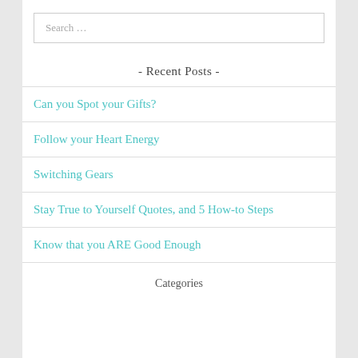Search …
- Recent Posts -
Can you Spot your Gifts?
Follow your Heart Energy
Switching Gears
Stay True to Yourself Quotes, and 5 How-to Steps
Know that you ARE Good Enough
Categories